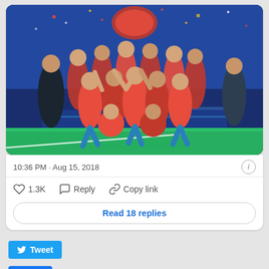[Figure (photo): Atletico Madrid football team celebrating victory with UEFA Europa League Cup trophy, players in red and white striped jerseys, confetti, blue backdrop]
10:36 PM · Aug 15, 2018
♡ 1.3K   Reply   Copy link
Read 18 replies
Tweet
Like   Sign Up to see what your friends like.